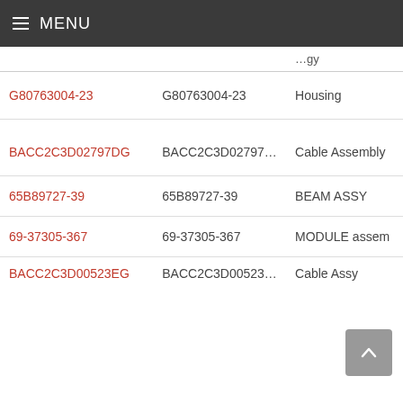≡ MENU
|  |  | …gy |
| --- | --- | --- |
| G80763004-23 | G80763004-23 | Housing |
| BACC2C3D02797DG | BACC2C3D02797DG | Cable Assembly |
| 65B89727-39 | 65B89727-39 | BEAM ASSY |
| 69-37305-367 | 69-37305-367 | MODULE assem |
| BACC2C3D00523EG | BACC2C3D00523EG | Cable Assy |